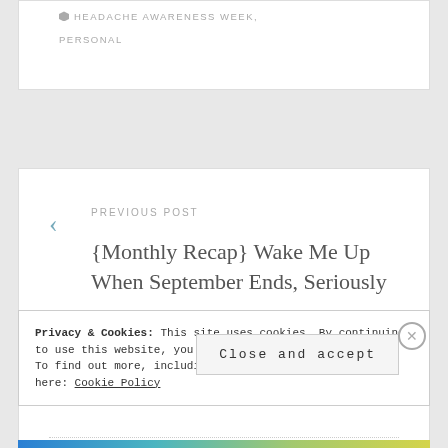HEADACHE AWARENESS WEEK, PERSONAL
PREVIOUS POST
{Monthly Recap} Wake Me Up When September Ends, Seriously
Privacy & Cookies: This site uses cookies. By continuing to use this website, you agree to their use.
To find out more, including how to control cookies, see here: Cookie Policy
Close and accept